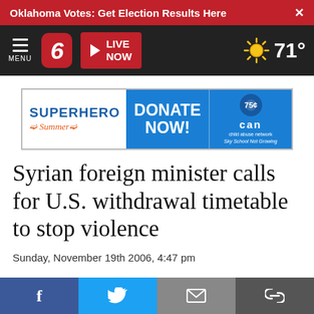Oklahoma Votes: Get Election Results Here
[Figure (screenshot): News station navigation bar with channel 6 logo, LIVE NOW button, and 71° weather display]
[Figure (other): Advertisement banner: Superhero Summer - DONATE NOW! - CAN child abuse network]
Syrian foreign minister calls for U.S. withdrawal timetable to stop violence
Sunday, November 19th 2006, 4:47 pm
Social sharing buttons: Facebook, Twitter, Email, Link